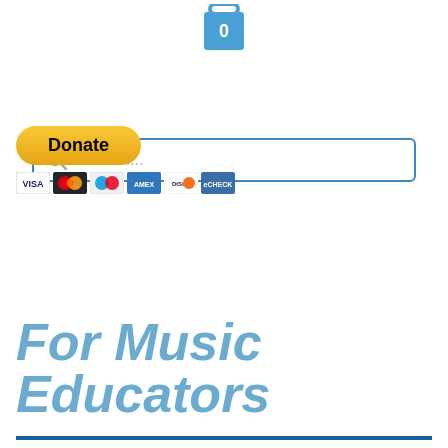[Figure (illustration): Shopping bag icon in blue with the number 0 inside, positioned at top center]
[Figure (screenshot): Search bar with magnifying glass icon and placeholder text 'Search...' with blue border]
[Figure (illustration): PayPal Donate button in yellow/gold with credit card icons below (Visa, Mastercard, Maestro, Amex, Discover, eCheck)]
[Figure (illustration): Dark navy blue hamburger menu button with three white horizontal lines]
For Music Educators
Advocacy/Outreach/Student Retention